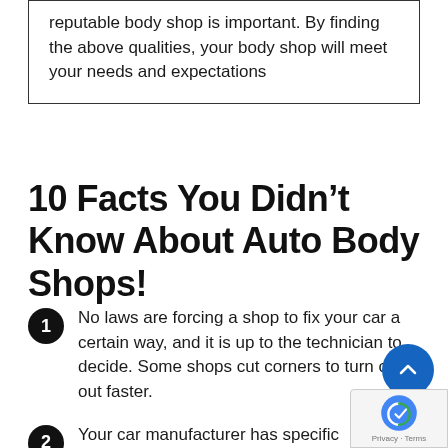reputable body shop is important. By finding the above qualities, your body shop will meet your needs and expectations
10 Facts You Didn’t Know About Auto Body Shops!
No laws are forcing a shop to fix your car a certain way, and it is up to the technician to decide. Some shops cut corners to turn cars out faster.
Your car manufacturer has specific guidelines on how to fix your vehicle. information comes at a cost to body